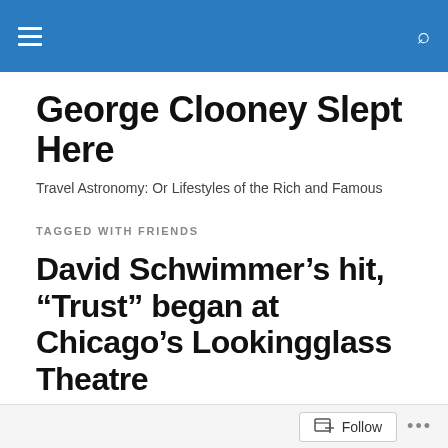George Clooney Slept Here [navigation bar]
George Clooney Slept Here
Travel Astronomy: Or Lifestyles of the Rich and Famous
TAGGED WITH FRIENDS
David Schwimmer’s hit, “Trust” began at Chicago’s Lookingglass Theatre
You’re going to be hearing a lot about a little movie called Trust. It opened last Friday and it’s powerful, about how a
Follow